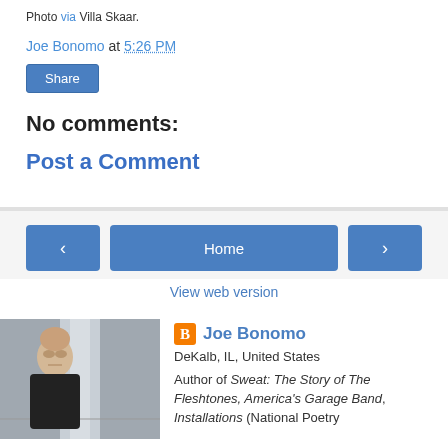Photo via Villa Skaar.
Joe Bonomo at 5:26 PM
Share
No comments:
Post a Comment
Home
View web version
[Figure (photo): Portrait photo of Joe Bonomo in a hallway]
Joe Bonomo
DeKalb, IL, United States
Author of Sweat: The Story of The Fleshtones, America's Garage Band, Installations (National Poetry